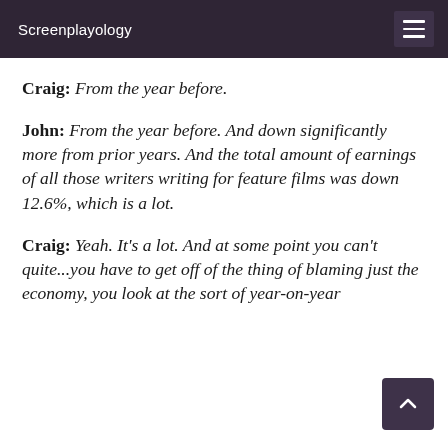Screenplayology
Craig: From the year before.
John: From the year before. And down significantly more from prior years. And the total amount of earnings of all those writers writing for feature films was down 12.6%, which is a lot.
Craig: Yeah. It’s a lot. And at some point you can’t quite…you have to get off of the thing of blaming just the economy, you look at the sort of year-on-year